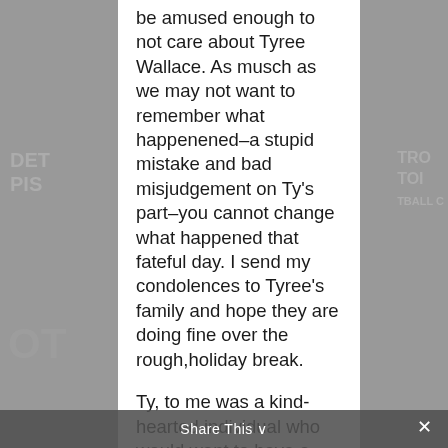be amused enough to not care about Tyree Wallace. As musch as we may not want to remember what happenened–a stupid mistake and bad misjudgement on Ty's part–you cannot change what happened that fateful day. I send my condolences to Tyree's family and hope they are doing fine over the rough,holiday break.

Ty, to me was a kind-hearted individual who would want to have a conversation with anyone (not just me) and would always treat people
Share This ∨   ×